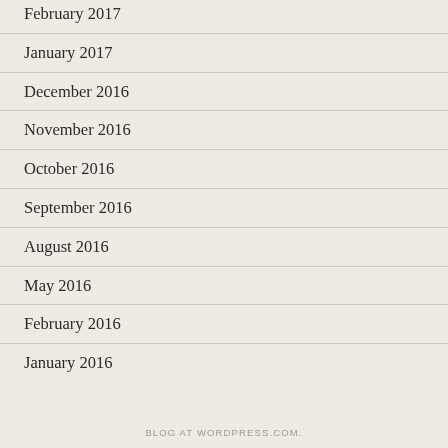February 2017
January 2017
December 2016
November 2016
October 2016
September 2016
August 2016
May 2016
February 2016
January 2016
BLOG AT WORDPRESS.COM.